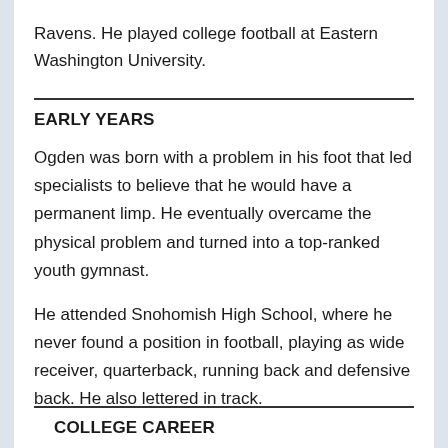Ravens. He played college football at Eastern Washington University.
EARLY YEARS
Ogden was born with a problem in his foot that led specialists to believe that he would have a permanent limp. He eventually overcame the physical problem and turned into a top-ranked youth gymnast.
He attended Snohomish High School, where he never found a position in football, playing as wide receiver, quarterback, running back and defensive back. He also lettered in track.
COLLEGE CAREER